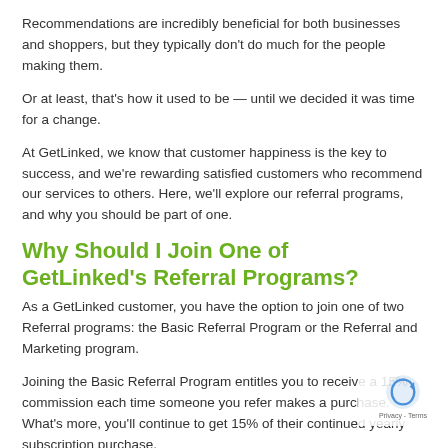Recommendations are incredibly beneficial for both businesses and shoppers, but they typically don't do much for the people making them.
Or at least, that's how it used to be — until we decided it was time for a change.
At GetLinked, we know that customer happiness is the key to success, and we're rewarding satisfied customers who recommend our services to others. Here, we'll explore our referral programs, and why you should be part of one.
Why Should I Join One of GetLinked's Referral Programs?
As a GetLinked customer, you have the option to join one of two Referral programs: the Basic Referral Program or the Referral and Marketing program.
Joining the Basic Referral Program entitles you to receive a 15% commission each time someone you refer makes a purchase. What's more, you'll continue to get 15% of their continued yearly subscription purchase.